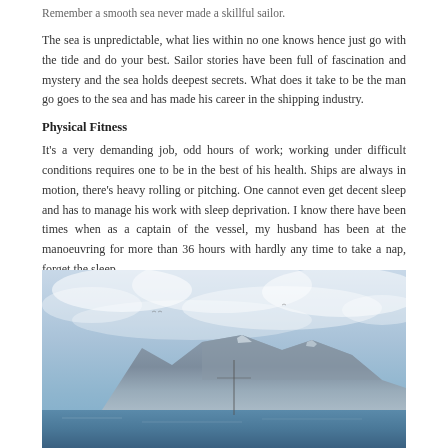Remember a smooth sea never made a skillful sailor.
The sea is unpredictable, what lies within no one knows hence just go with the tide and do your best. Sailor stories have been full of fascination and mystery and the sea holds deepest secrets. What does it take to be the man go goes to the sea and has made his career in the shipping industry.
Physical Fitness
It's a very demanding job, odd hours of work; working under difficult conditions requires one to be in the best of his health. Ships are always in motion, there's heavy rolling or pitching. One cannot even get decent sleep and has to manage his work with sleep deprivation. I know there have been times when as a captain of the vessel, my husband has been at the manoeuvring for more than 36 hours with hardly any time to take a nap, forget the sleep.
[Figure (photo): Photograph of a coastal mountain or rocky island seen from the sea, with dramatic cloud-filled sky above and calm blue water in the foreground. A ship's mast is visible in the center of the image.]